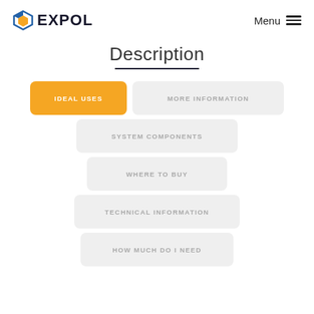EXPOL — Menu
Description
IDEAL USES
MORE INFORMATION
SYSTEM COMPONENTS
WHERE TO BUY
TECHNICAL INFORMATION
HOW MUCH DO I NEED